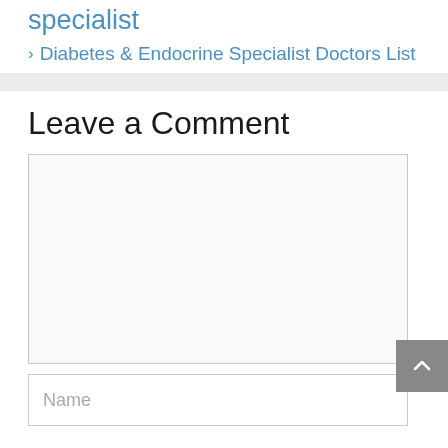specialist
> Diabetes & Endocrine Specialist Doctors List
Leave a Comment
[Figure (other): Empty comment textarea input box]
[Figure (other): Name input field with placeholder text 'Name']